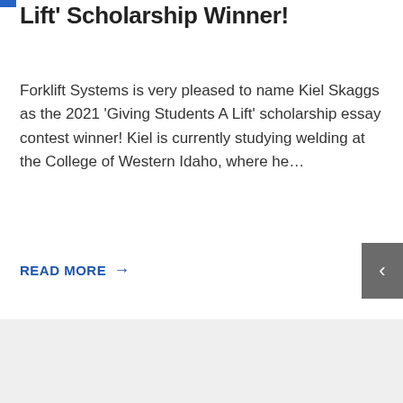Lift' Scholarship Winner!
Forklift Systems is very pleased to name Kiel Skaggs as the 2021 'Giving Students A Lift' scholarship essay contest winner! Kiel is currently studying welding at the College of Western Idaho, where he...
READ MORE →
[Figure (other): Gray rectangular placeholder area at the bottom of the page]